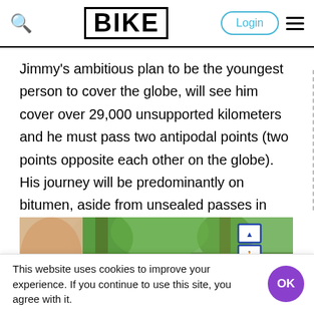BIKE | Login | Menu
Jimmy's ambitious plan to be the youngest person to cover the globe, will see him cover over 29,000 unsupported kilometers and he must pass two antipodal points (two points opposite each other on the globe). His journey will be predominantly on bitumen, aside from unsealed passes in central Asia.
[Figure (photo): Outdoor photo showing a person's face on the left edge, trees in the background, and a blue road/cyclist sign on the right side.]
This website uses cookies to improve your experience. If you continue to use this site, you agree with it.